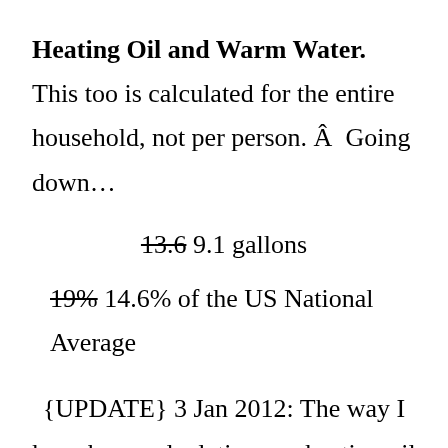Heating Oil and Warm Water. This too is calculated for the entire household, not per person. Â  Going down…
13.6 9.1 gallons
19% 14.6% of the US National Average
{UPDATE} 3 Jan 2012: The way I have been calculating our heating oil consumption is by reading off the furnace how many hours it ran, then multiplying it by .85 because